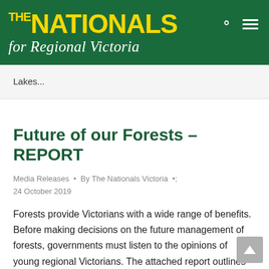THE NATIONALS for Regional Victoria
Lakes...
Future of our Forests – REPORT
Media Releases • By The Nationals Victoria • 24 October 2019
Forests provide Victorians with a wide range of benefits. Before making decisions on the future management of forests, governments must listen to the opinions of young regional Victorians. The attached report outlines findings,